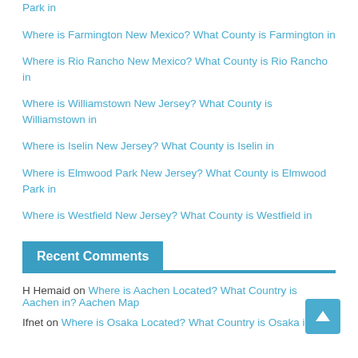Park in
Where is Farmington New Mexico? What County is Farmington in
Where is Rio Rancho New Mexico? What County is Rio Rancho in
Where is Williamstown New Jersey? What County is Williamstown in
Where is Iselin New Jersey? What County is Iselin in
Where is Elmwood Park New Jersey? What County is Elmwood Park in
Where is Westfield New Jersey? What County is Westfield in
Recent Comments
H Hemaid on Where is Aachen Located? What Country is Aachen in? Aachen Map
Ifnet on Where is Osaka Located? What Country is Osaka in?